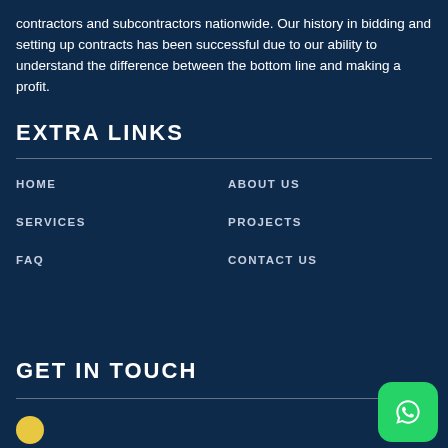contractors and subcontractors nationwide. Our history in bidding and setting up contracts has been successful due to our ability to understand the difference between the bottom line and making a profit.
EXTRA LINKS
HOME
ABOUT US
SERVICES
PROJECTS
FAQ
CONTACT US
GET IN TOUCH
[Figure (logo): WhatsApp button icon (green rounded square with phone handset)]